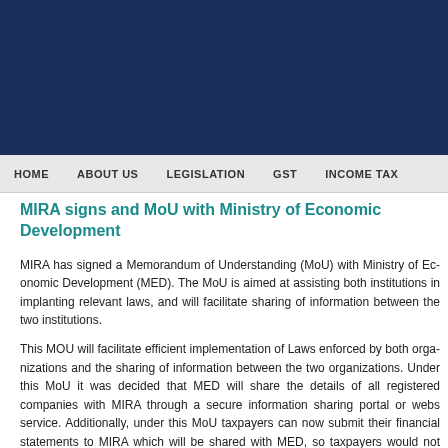[Figure (other): Dark navy blue header banner for MIRA website]
HOME   ABOUT US   LEGISLATION   GST   INCOME TAX
MIRA signs and MoU with Ministry of Economic Development
MIRA has signed a Memorandum of Understanding (MoU) with Ministry of Economic Development (MED). The MoU is aimed at assisting both institutions in implanting relevant laws, and will facilitate sharing of information between the two institutions.
This MOU will facilitate efficient implementation of Laws enforced by both organizations and the sharing of information between the two organizations. Under this MoU it was decided that MED will share the details of all registered companies with MIRA through a secure information sharing portal or webs service. Additionally, under this MoU taxpayers can now submit their financial statements to MIRA which will be shared with MED, so taxpayers would not have to submit their financial statements to both institutions. However this decision does not affect the obligation to file financial statements with MED. This MOU would would also facilitate training opportunities between the two institutions.
The MOU was signed today at 1100hrs in a ceremony held at Velaanaage. The MOU was signed by MIRA Commissioner General, with the Minister of Economic Development, Honorable Mohamed Saeed signing on behalf of MED.
01 Jun 15